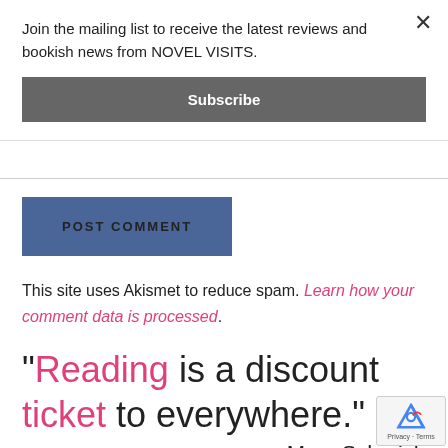Join the mailing list to receive the latest reviews and bookish news from NOVEL VISITS.
Subscribe
POST COMMENT
This site uses Akismet to reduce spam. Learn how your comment data is processed.
"Reading is a discount ticket to everywhere."
—Mary Schmich